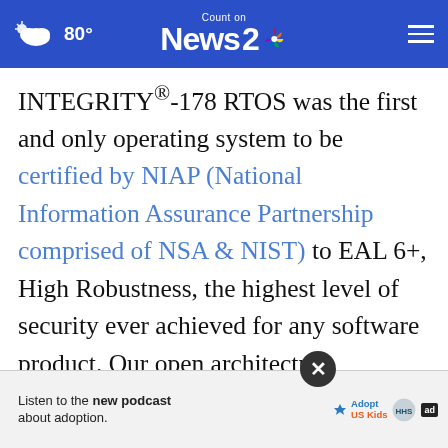Count on News 2 NBC — 80° weather, navigation bar
INTEGRITY®-178 RTOS was the first and only operating system to be certified by NIAP (National Information Assurance Partnership comprised of NSA & NIST) to EAL 6+, High Robustness, the highest level of security ever achieved for any software product. Our open architecture integrated development solutions address deeply embedded, absolute security and high-reliability applications for the military/avionics, medical, industrial, automotive, and other...
[Figure (screenshot): Advertisement banner: Listen to the new podcast about adoption. Adopt US Kids logo with ad badge. Close button overlay.]